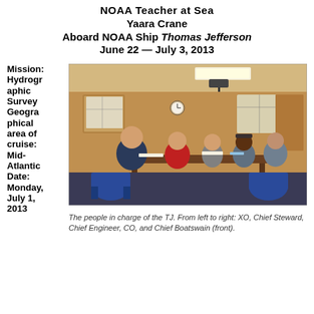NOAA Teacher at Sea
Yaara Crane
Aboard NOAA Ship Thomas Jefferson
June 22 — July 3, 2013
Mission: Hydrographic Survey Geographical area of cruise: Mid-Atlantic Date: Monday, July 1, 2013
[Figure (photo): People seated around a table in a wood-paneled ship conference room. Five individuals visible, with maps on the walls and a projector overhead.]
The people in charge of the TJ. From left to right: XO, Chief Steward, Chief Engineer, CO, and Chief Boatswain (front).